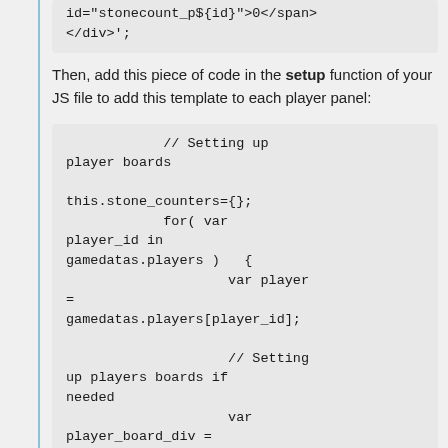id="stonecount_p${id}">0</span>
</div>';
Then, add this piece of code in the setup function of your JS file to add this template to each player panel:
// Setting up player boards

this.stone_counters={};
            for( var player_id in gamedatas.players )   {
                    var player =
gamedatas.players[player_id];

                    // Setting up players boards if needed
                    var
player_board_div =